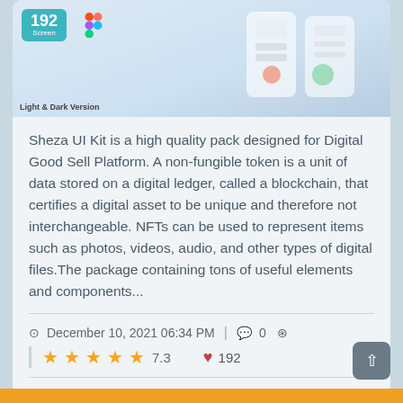[Figure (screenshot): Preview image of Sheza UI Kit showing app screens with light and dark version badge, 192 screens badge, Figma logo, and colorful mobile UI mockups]
Sheza UI Kit is a high quality pack designed for Digital Good Sell Platform. A non-fungible token is a unit of data stored on a digital ledger, called a blockchain, that certifies a digital asset to be unique and therefore not interchangeable. NFTs can be used to represent items such as photos, videos, audio, and other types of digital files.The package containing tons of useful elements and components...
December 10, 2021 06:34 PM  0
7.3  192
FREE
Login to download